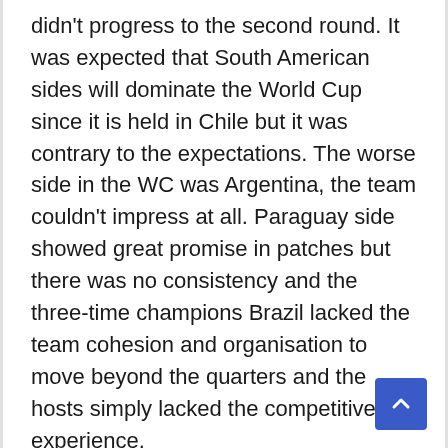didn't progress to the second round. It was expected that South American sides will dominate the World Cup since it is held in Chile but it was contrary to the expectations. The worse side in the WC was Argentina, the team couldn't impress at all. Paraguay side showed great promise in patches but there was no consistency and the three-time champions Brazil lacked the team cohesion and organisation to move beyond the quarters and the hosts simply lacked the competitive experience.
The most promising side was Ecuador from the continent hosting the world cup but fell apart in the quarterfinal against the talented semi-finalist Mexico.  I have closely worked with 11